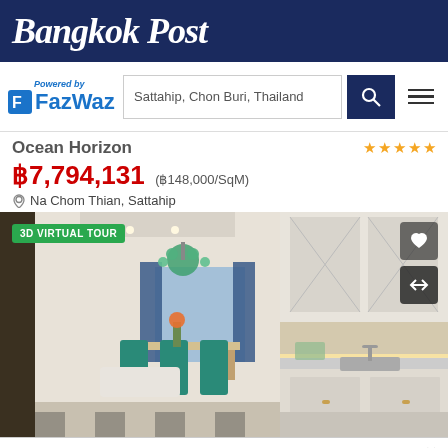Bangkok Post
[Figure (logo): FazWaz logo with search bar showing 'Sattahip, Chon Buri, Thailand' and navigation icons]
Ocean Horizon
฿7,794,131 (฿148,000/SqM)
Na Chom Thian, Sattahip
[Figure (photo): Interior photo of a luxury condo showing kitchen with white cabinets and a living/dining area with teal chairs and chandelier. Has '3D VIRTUAL TOUR' badge overlay.]
Accept and Close ×
Your browser settings do not allow cross-site tracking for advertising. Click on this page to allow AdRoll to use cross-site tracking to tailor ads to you. Learn more or opt out of this AdRoll tracking by clicking here. This message only appears once.